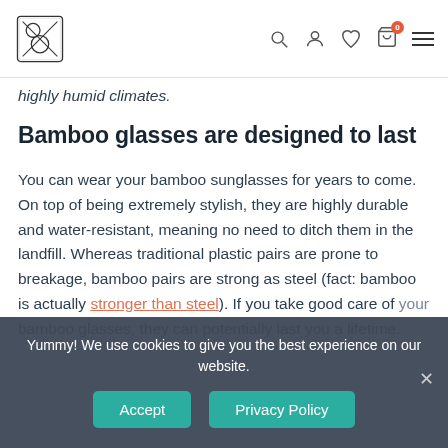B logo | Search, User, Wishlist, Cart (0), Menu icons
highly humid climates.
Bamboo glasses are designed to last
You can wear your bamboo sunglasses for years to come. On top of being extremely stylish, they are highly durable and water-resistant, meaning no need to ditch them in the landfill. Whereas traditional plastic pairs are prone to breakage, bamboo pairs are strong as steel (fact: bamboo is actually stronger than steel). If you take good care of your bamboo glasses, they can potentially last you a lifetime.
Yummy! We use cookies to give you the best experience on our website.